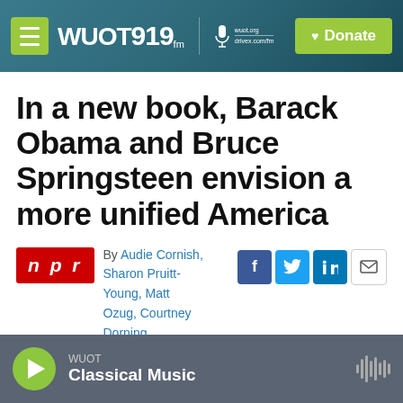WUOT 91.9 FM | wuot.org
In a new book, Barack Obama and Bruce Springsteen envision a more unified America
By Audie Cornish, Sharon Pruitt-Young, Matt Ozug, Courtney Dorning
WUOT Classical Music